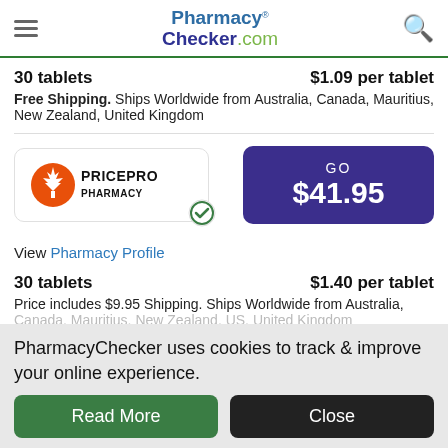PharmacyChecker.com
30 tablets   $1.09 per tablet
Free Shipping. Ships Worldwide from Australia, Canada, Mauritius, New Zealand, United Kingdom
[Figure (logo): PricePro Pharmacy logo with maple leaf and green checkmark badge, with a purple GO $41.95 button]
View Pharmacy Profile
30 tablets   $1.40 per tablet
Price includes $9.95 Shipping. Ships Worldwide from Australia, Canada, Mauritius, New Zealand, US, United Kingdom
PharmacyChecker uses cookies to track & improve your online experience.